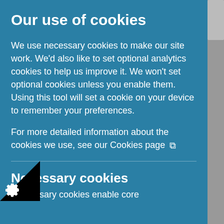Our use of cookies
We use necessary cookies to make our site work. We'd also like to set optional analytics cookies to help us improve it. We won't set optional cookies unless you enable them. Using this tool will set a cookie on your device to remember your preferences.
For more detailed information about the cookies we use, see our Cookies page ⧉
Necessary cookies
ssary cookies enable core